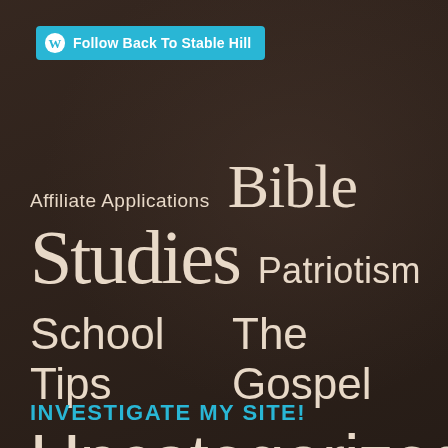[Figure (screenshot): WordPress follow bar with cyan background reading 'Follow Back To Stable Hill']
Affiliate Applications
Bible
Studies
Patriotism
School Tips
The Gospel
Uncategorized
INVESTIGATE MY SITE!